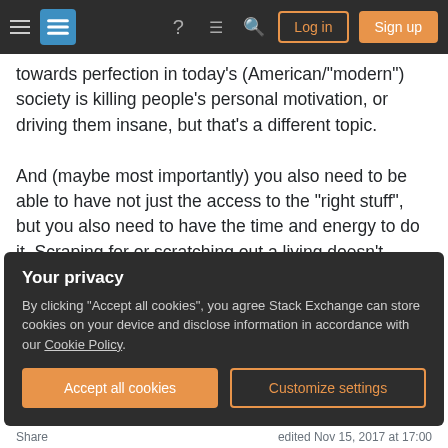Stack Exchange navigation bar with hamburger menu, logo, help icon, chat icon, search icon, Log in button, Sign up button
towards perfection in today's (American/"modern") society is killing people's personal motivation, or driving them insane, but that's a different topic.
And (maybe most importantly) you also need to be able to have not just the access to the "right stuff", but you also need to have the time and energy to do it. Scraping for or scratching out a living doesn't exactly give you the ability to do any learning, regardless of how many informational resources are available. Getting stuck in a job(s) that takes all your
Your privacy
By clicking "Accept all cookies", you agree Stack Exchange can store cookies on your device and disclose information in accordance with our Cookie Policy.
Accept all cookies   Customize settings
Share   edited Nov 15, 2017 at 17:00